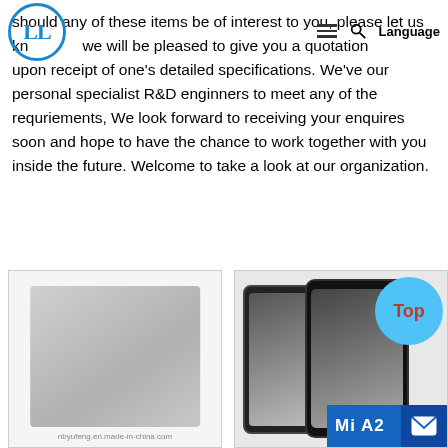Logo | hamburger menu | search | Language
should any of these items be of interest to you, please let us know we will be pleased to give you a quotation upon receipt of one's detailed specifications. We've our personal specialist R&D enginners to meet any of the requriements, We look forward to receiving your enquires soon and hope to have the chance to work together with you inside the future. Welcome to take a look at our organization.
[Figure (photo): Product image of a flat box/package on light grey background with watermark nbyufeng.en.made-in-china.com]
[Figure (photo): Two smartphones displayed side by side with a blue circle badge showing 'Top' and a blue banner showing 'Mi A2']